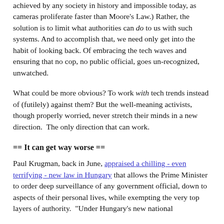achieved by any society in history and impossible today, as cameras proliferate faster than Moore's Law.) Rather, the solution is to limit what authorities can do to us with such systems. And to accomplish that, we need only get into the habit of looking back. Of embracing the tech waves and ensuring that no cop, no public official, goes un-recognized, unwatched.
What could be more obvious? To work with tech trends instead of (futilely) against them? But the well-meaning activists, though properly worried, never stretch their minds in a new direction.  The only direction that can work.
== It can get way worse ==
Paul Krugman, back in June, appraised a chilling - even terrifying - new law in Hungary that allows the Prime Minister to order deep surveillance of any government official, down to aspects of their personal lives, while exempting the very top layers of authority.  "Under Hungary's new national